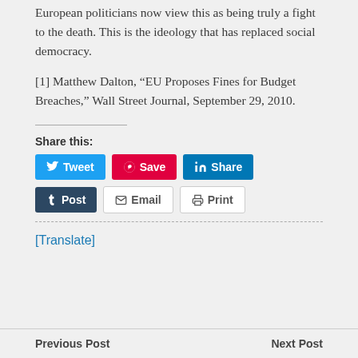European politicians now view this as being truly a fight to the death. This is the ideology that has replaced social democracy.
[1] Matthew Dalton, “EU Proposes Fines for Budget Breaches,” Wall Street Journal, September 29, 2010.
Share this:
Tweet  Save  Share  Post  Email  Print
[Translate]
Previous Post   Next Post